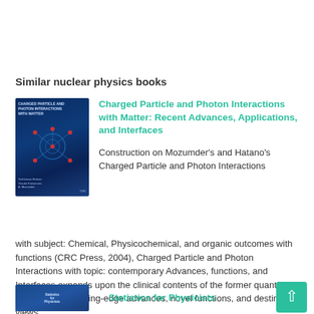Similar nuclear physics books
[Figure (photo): Book cover of Charged Particle and Photon Interactions with Matter: Recent Advances, Applications, and Interfaces — dark blue cover with network/particle diagram]
Charged Particle and Photon Interactions with Matter: Recent Advances, Applications, and Interfaces
Construction on Mozumder's and Hatano's Charged Particle and Photon Interactions with subject: Chemical, Physicochemical, and organic outcomes with functions (CRC Press, 2004), Charged Particle and Photon Interactions with topic: contemporary Advances, functions, and Interfaces expands upon the clinical contents of the former quantity via overlaying cutting-edge advances, novel functions, and destiny views.
[Figure (photo): Book cover of Statistics for Physicists — blue cover]
Statistics for Physicists